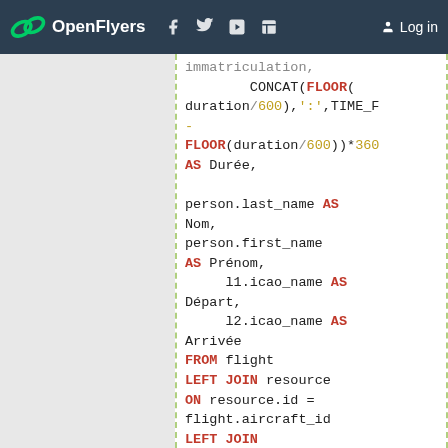OpenFlyers | Log in
Code snippet showing SQL query with CONCAT, FLOOR, AS, FROM, LEFT JOIN, ON keywords and fields like immatriculation, duration, person.last_name, person.first_name, l1.icao_name, l2.icao_name, resource, flight_pilot, person, location